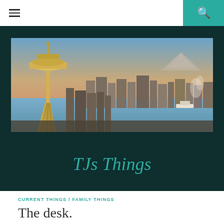≡  🔍
[Figure (photo): Aerial photograph of Seattle skyline at golden hour, featuring the Space Needle in the foreground left with downtown skyscrapers and Puget Sound visible in the background.]
TJs Things
CURRENT THINGS / FAMILY THINGS
The desk.